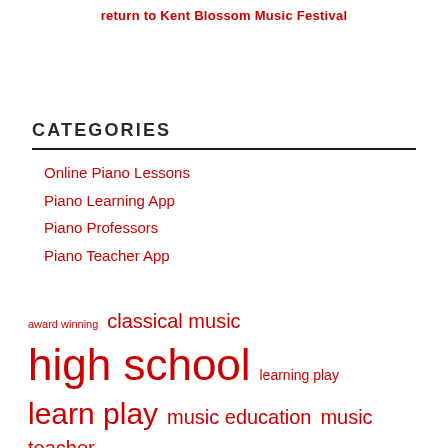return to Kent Blossom Music Festival
CATEGORIES
Online Piano Lessons
Piano Learning App
Piano Professors
Piano Teacher App
award winning  classical music  high school  learning play  learn play  music education  music teacher  piano lessons  piano teacher  playing piano  play piano  school music  state university  symphony orchestra  united states